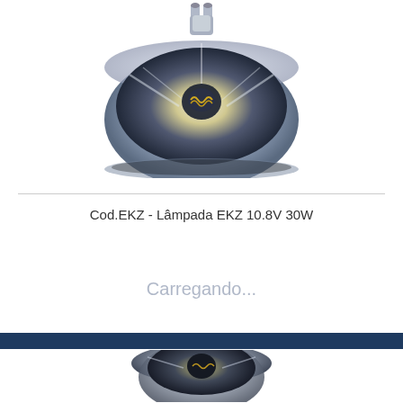[Figure (photo): Halogen MR16/GU10 reflector lamp bulb, silver reflective cup with visible filament coil, photographed from slight angle above]
Cod.EKZ - Lâmpada EKZ 10.8V 30W
Carregando...
[Figure (photo): Second halogen MR16 reflector lamp bulb, similar silver reflective cup design, partially cropped at bottom of page]